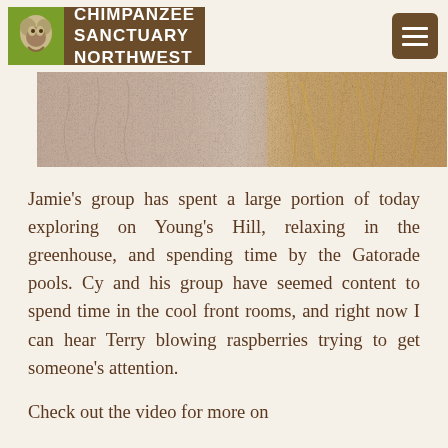CHIMPANZEE SANCTUARY NORTHWEST
[Figure (photo): Close-up photo of what appears to be animal fur or skin texture, brownish-grey tones on the left and straw/hay-like material on the right.]
Jamie's group has spent a large portion of today exploring on Young's Hill, relaxing in the greenhouse, and spending time by the Gatorade pools. Cy and his group have seemed content to spend time in the cool front rooms, and right now I can hear Terry blowing raspberries trying to get someone's attention.
Check out the video for more on